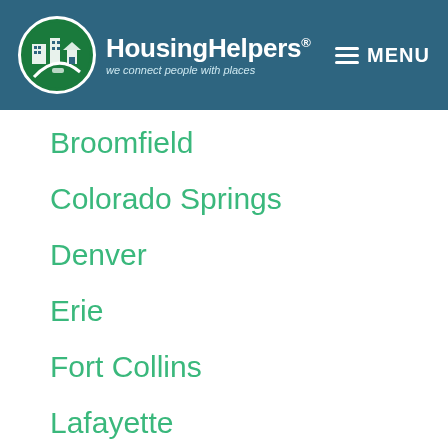HousingHelpers® — we connect people with places | MENU
Broomfield
Colorado Springs
Denver
Erie
Fort Collins
Lafayette
Longmont
Louisville
Superior